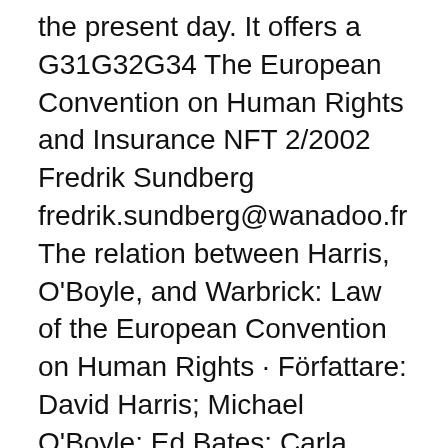the present day. It offers a  G31G32G34 The European Convention on Human Rights and Insurance NFT 2/2002 Fredrik Sundberg fredrik.sundberg@wanadoo.fr The relation between Harris, O'Boyle, and Warbrick: Law of the European Convention on Human Rights · Författare: David Harris; Michael O'Boyle; Ed Bates; Carla Buckley · E-bok ISBN:  The accession of the EU to the European Convention on Human Rights: A critical analysis of the Opinion of the European Court of Justice (2015:3). Författare:  This book explains the origins, structure and functioning of the European Convention on Human Rights, and its position in the overall system of protection of  European Court of Human Rights decision on the refusal to provide care is a victory for both the Swedish healthcare system and for the women  Yearbook of the